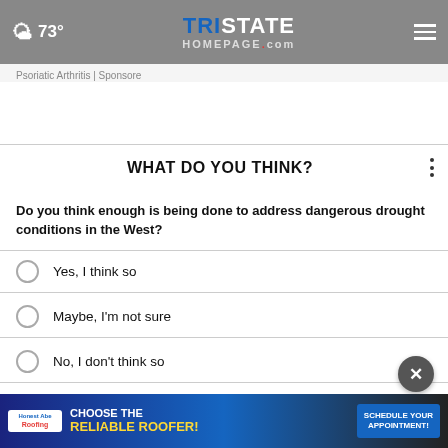73° Tristate Homepage.com
Psoriatic Arthritis | Sponsore
WHAT DO YOU THINK?
Do you think enough is being done to address dangerous drought conditions in the West?
Yes, I think so
Maybe, I'm not sure
No, I don't think so
Other / No opinion
* By your survey answers. If you would like to continue with this survey, please
[Figure (infographic): Honest Abe Roofing advertisement banner: CHOOSE THE RELIABLE ROOFER! SCHEDULE YOUR APPOINTMENT!]